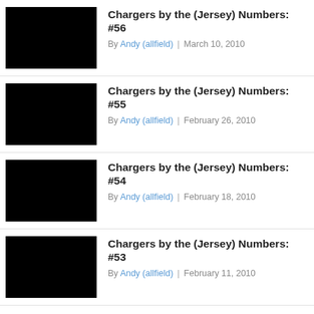Chargers by the (Jersey) Numbers: #56
By Andy (allfield) | March 10, 2010
[Figure (photo): Black thumbnail image]
Chargers by the (Jersey) Numbers: #55
By Andy (allfield) | February 26, 2010
[Figure (photo): Black thumbnail image]
Chargers by the (Jersey) Numbers: #54
By Andy (allfield) | February 18, 2010
[Figure (photo): Black thumbnail image]
Chargers by the (Jersey) Numbers: #53
By Andy (allfield) | February 11, 2010
[Figure (photo): Black thumbnail image]